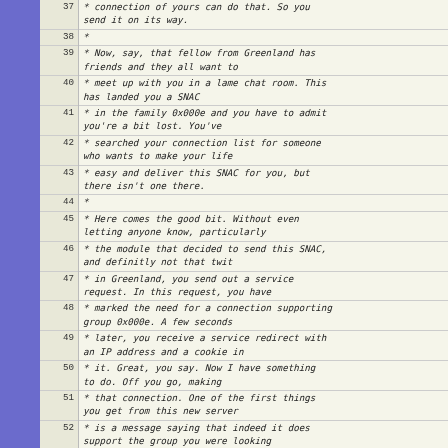| Line | Code |
| --- | --- |
| 37 |  * connection of yours can do that.  So you send it on its way. |
| 38 |  * |
| 39 |  * Now, say, that fellow from Greenland has friends and they all want to |
| 40 |  * meet up with you in a lame chat room.  This has landed you a SNAC |
| 41 |  * in the family 0x000e and you have to admit you're a bit lost.  You've |
| 42 |  * searched your connection list for someone who wants to make your life |
| 43 |  * easy and deliver this SNAC for you, but there isn't one there. |
| 44 |  * |
| 45 |  * Here comes the good bit.  Without even letting anyone know, particularly |
| 46 |  * the module that decided to send this SNAC, and definitly not that twit |
| 47 |  * in Greenland, you send out a service request.  In this request, you have |
| 48 |  * marked the need for a connection supporting group 0x000e.  A few seconds |
| 49 |  * later, you receive a service redirect with an IP address and a cookie in |
| 50 |  * it.  Great, you say.  Now I have something to do.  Off you go, making |
| 51 |  * that connection.  One of the first things you get from this new server |
| 52 |  * is a message saying that indeed it does support the group you were looking |
| 53 |  * for.  So you continue and send rate confirmation and all that. |
| 54 |  * |
| 55 |  * Then you remember you had that SNAC to send, and now you have a means to |